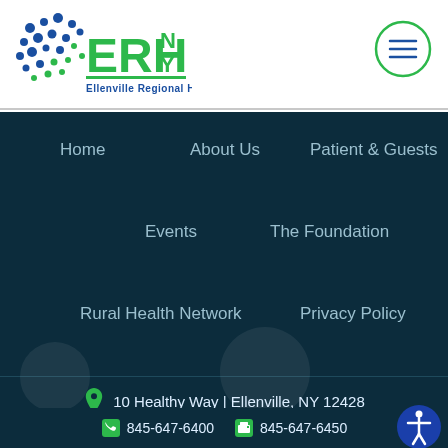[Figure (logo): ERHY NY Ellenville Regional Hospital logo with blue dot pattern and green text]
[Figure (other): Hamburger menu icon in green circle outline]
Home
About Us
Patient & Guests
Events
The Foundation
Rural Health Network
Privacy Policy
10 Healthy Way | Ellenville, NY 12428
845-647-6400
845-647-6450